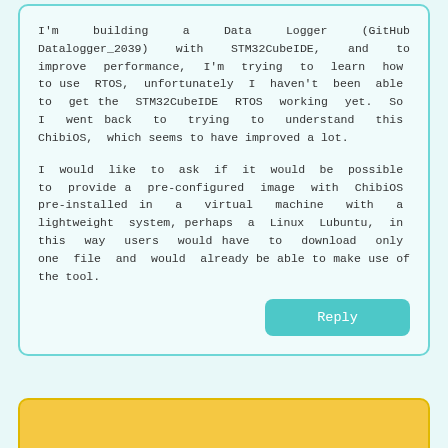I'm building a Data Logger (GitHub Datalogger_2039) with STM32CubeIDE, and to improve performance, I'm trying to learn how to use RTOS, unfortunately I haven't been able to get the STM32CubeIDE RTOS working yet. So I went back to trying to understand this ChibiOS, which seems to have improved a lot.
I would like to ask if it would be possible to provide a pre-configured image with ChibiOS pre-installed in a virtual machine with a lightweight system, perhaps a Linux Lubuntu, in this way users would have to download only one file and would already be able to make use of the tool.